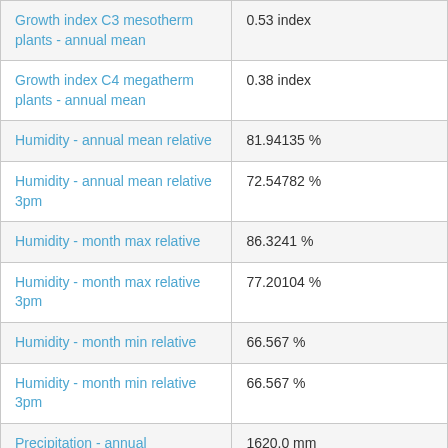| Parameter | Value |
| --- | --- |
| Growth index C3 mesotherm plants - annual mean | 0.53 index |
| Growth index C4 megatherm plants - annual mean | 0.38 index |
| Humidity - annual mean relative | 81.94135 % |
| Humidity - annual mean relative 3pm | 72.54782 % |
| Humidity - month max relative | 86.3241 % |
| Humidity - month max relative 3pm | 77.20104 % |
| Humidity - month min relative | 66.567 % |
| Humidity - month min relative 3pm | 66.567 % |
| Precipitation - annual | 1620.0 mm |
| Precipitation - annual (Bio12) | 1762.0 mm |
| Precipitation - annual mean | 143.70985 mm |